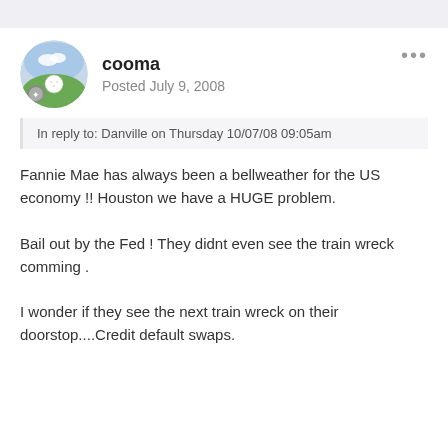cooma
Posted July 9, 2008
In reply to: Danville on Thursday 10/07/08 09:05am
Fannie Mae has always been a bellweather for the US economy !! Houston we have a HUGE problem.
Bail out by the Fed ! They didnt even see the train wreck comming .
I wonder if they see the next train wreck on their doorstop....Credit default swaps.